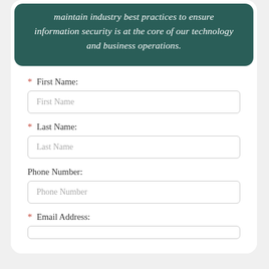maintain industry best practices to ensure information security is at the core of our technology and business operations.
* First Name:
First Name
* Last Name:
Last Name
Phone Number:
Phone Number
* Email Address: